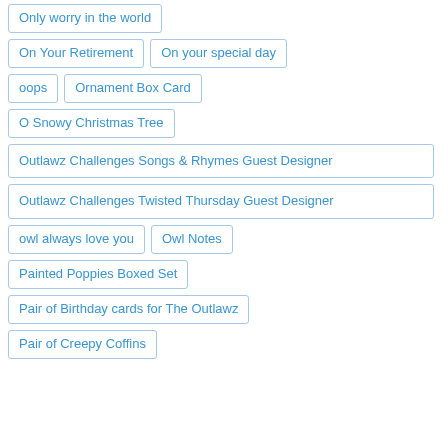Only worry in the world
On Your Retirement
On your special day
oops
Ornament Box Card
O Snowy Christmas Tree
Outlawz Challenges Songs & Rhymes Guest Designer
Outlawz Challenges Twisted Thursday Guest Designer
owl always love you
Owl Notes
Painted Poppies Boxed Set
Pair of Birthday cards for The Outlawz
Pair of Creepy Coffins